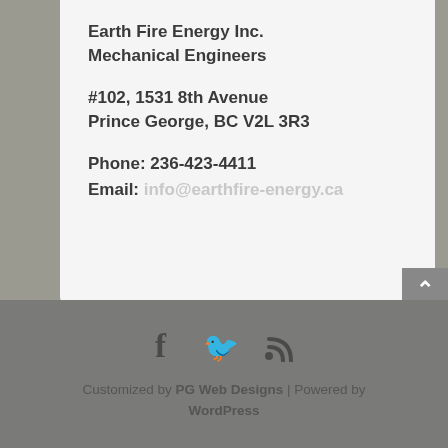Earth Fire Energy Inc.
Mechanical Engineers
#102, 1531 8th Avenue
Prince George, BC V2L 3R3
Phone: 236-423-4411
Email: info@earthfire-energy.ca
[Figure (other): Social media icons: Facebook (f), Twitter (bird), RSS feed symbol]
Customized by PG Web Designs | Powered by WordPress